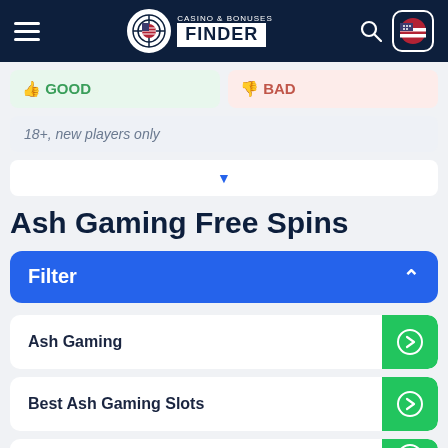[Figure (screenshot): Website header for Casino & Bonuses Finder with hamburger menu, logo, search icon, and flag icon]
GOOD
BAD
18+, new players only
Ash Gaming Free Spins
Filter
Ash Gaming
Best Ash Gaming Slots
Best Ash Gaming Casinos